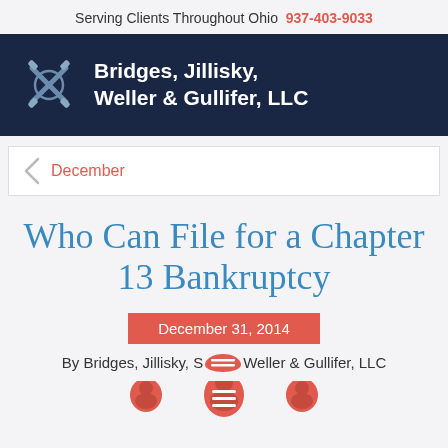Serving Clients Throughout Ohio  937-403-9033
[Figure (logo): Bridges, Jillisky, Weller & Gullifer, LLC law firm logo with navy background and crossed-hammer icon]
December
Who Can File for a Chapter 13 Bankruptcy
December 31, 2014
By Bridges, Jillisky, S... Weller & Gullifer, LLC